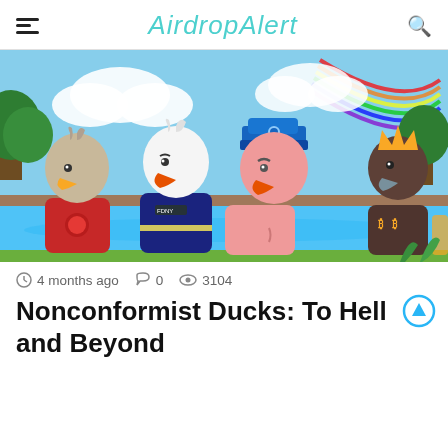AirdropAlert
[Figure (illustration): Cartoon illustration of four duck-headed characters standing in a pond. From left to right: a duck in a red t-shirt with yellow beak, a duck in a dark firefighter (FDNY) uniform with orange beak, a pink duck wearing a blue police hat with orange beak, and a dark brown duck wearing a yellow crown. Colorful background with rainbow, trees, clouds, and pond.]
4 months ago   0   3104
Nonconformist Ducks: To Hell and Beyond